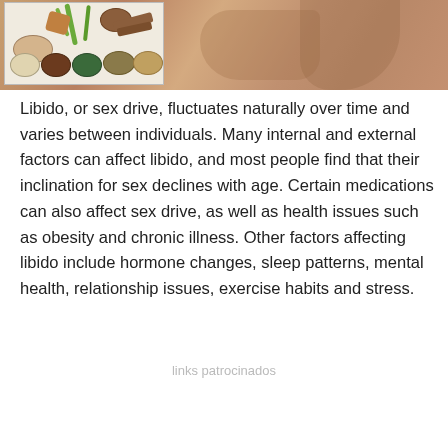[Figure (photo): Composite image: on the left, a smaller inset photo showing various herbs and spices in bowls with green onions on a white surface; on the right, a larger background photo showing a person's bare skin/shoulder in warm brown tones.]
Libido, or sex drive, fluctuates naturally over time and varies between individuals. Many internal and external factors can affect libido, and most people find that their inclination for sex declines with age. Certain medications can also affect sex drive, as well as health issues such as obesity and chronic illness. Other factors affecting libido include hormone changes, sleep patterns, mental health, relationship issues, exercise habits and stress.
links patrocinados